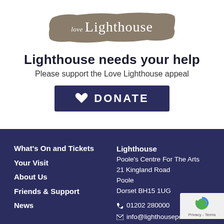[Figure (logo): Love Lighthouse logo with brush stroke background, white text reading 'love Lighthouse' in a handwritten and serif style]
Lighthouse needs your help
Please support the Love Lighthouse appeal
[Figure (infographic): Dark navy DONATE button with heart icon]
What's On and Tickets
Your Visit
About Us
Friends & Support
News
Lighthouse
Poole's Centre For The Arts
21 Kingland Road
Poole
Dorset BH15 1UG

01202 280000
info@lighthousepoole.c